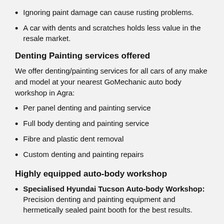Ignoring paint damage can cause rusting problems.
A car with dents and scratches holds less value in the resale market.
Denting Painting services offered
We offer denting/painting services for all cars of any make and model at your nearest GoMechanic auto body workshop in Agra:
Per panel denting and painting service
Full body denting and painting service
Fibre and plastic dent removal
Custom denting and painting repairs
Highly equipped auto-body workshop
Specialised Hyundai Tucson Auto-body Workshop: Precision denting and painting equipment and hermetically sealed paint booth for the best results.